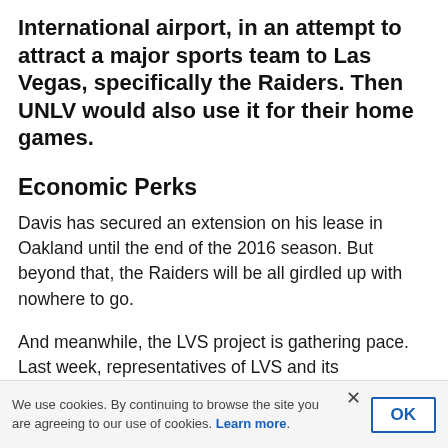International airport, in an attempt to attract a major sports team to Las Vegas, specifically the Raiders. Then UNLV would also use it for their home games.
Economic Perks
Davis has secured an extension on his lease in Oakland until the end of the 2016 season. But beyond that, the Raiders will be all girdled up with nowhere to go.
And meanwhile, the LVS project is gathering pace. Last week, representatives of LVS and its commercial partners in the project, Majestic Realty, met with the Southern Nevada Tourism Infrastructure Committee to discuss the benefits of the proposal.
We use cookies. By continuing to browse the site you are agreeing to our use of cookies. Learn more.